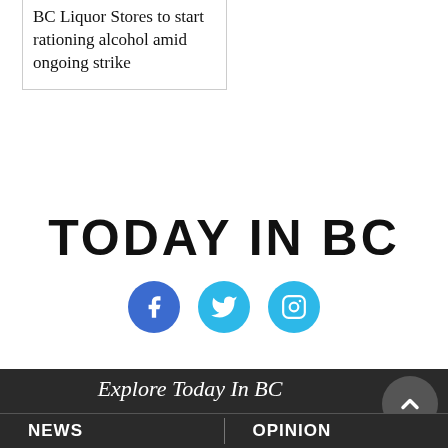BC Liquor Stores to start rationing alcohol amid ongoing strike
TODAY IN BC
[Figure (infographic): Three social media icons: Facebook (blue circle with f), Twitter (light blue circle with bird), Instagram (light blue circle with camera)]
Explore Today In BC
NEWS
OPINION